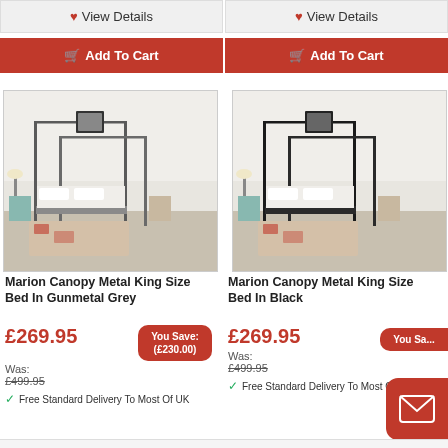♥ View Details
♥ View Details
🛒 Add To Cart
🛒 Add To Cart
[Figure (photo): Marion Canopy Metal King Size Bed In Gunmetal Grey - photo of four-poster bed with grey metal frame in a bedroom setting]
[Figure (photo): Marion Canopy Metal King Size Bed In Black - photo of four-poster bed with black metal frame in a bedroom setting]
Marion Canopy Metal King Size Bed In Gunmetal Grey
Marion Canopy Metal King Size Bed In Black
£269.95 Was: £499.95 You Save: (£230.00) Free Standard Delivery To Most Of UK
£269.95 Was: £499.95 You Save: Free Standard Delivery To Most Of UK